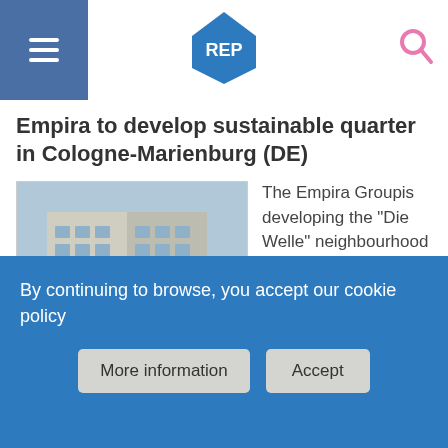REP
Empira to develop sustainable quarter in Cologne-Marienburg (DE)
[Figure (photo): Exterior photo of a modern residential building with trees in Cologne-Marienburg]
The Empira Groupis developing the "Die Welle" neighbourhood in Cologne-Marienburg. The quarter was originally developed as part of a joint venture between Empira,BAUWENS ...
Shearer & Hill Group team up for Coventry City Centre regeneration project (GB)
Shearer Property Group (SPG)has selected
By continuing to browse, you accept our cookie policy
More information
Accept